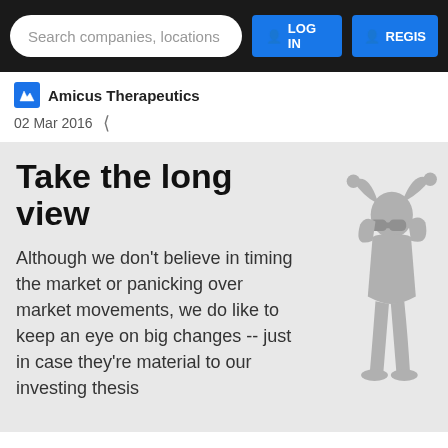Search companies, locations | LOG IN | REGIS
Amicus Therapeutics
02 Mar 2016
[Figure (illustration): Motley Fool advertisement banner with text 'Take the long view' and body text 'Although we don't believe in timing the market or panicking over market movements, we do like to keep an eye on big changes -- just in case they're material to our investing thesis', with a jester silhouette figure on the right]
The Motley Fool
Why Amicus Therapeutics Shares Are Up Today
STOCK MARKETS